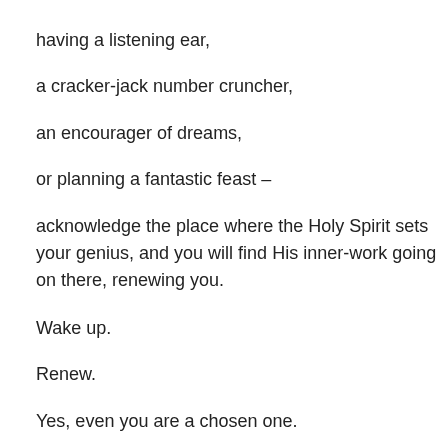having a listening ear,
a cracker-jack number cruncher,
an encourager of dreams,
or planning a fantastic feast –
acknowledge the place where the Holy Spirit sets your genius, and you will find His inner-work going on there, renewing you.
Wake up.
Renew.
Yes, even you are a chosen one.
Go.